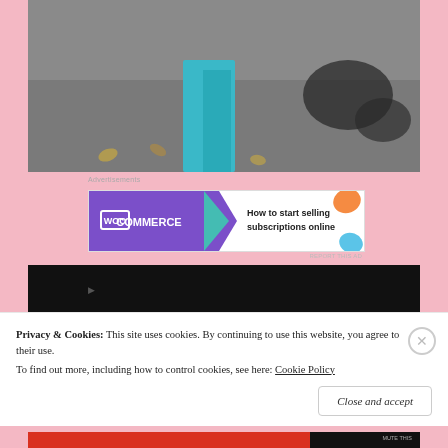[Figure (photo): Photo showing legs in teal/turquoise pants on a concrete sidewalk, dark stains visible on ground]
Advertisements
[Figure (other): WooCommerce advertisement banner: 'How to start selling subscriptions online']
REPORT THIS AD
[Figure (screenshot): Video thumbnail with black background]
Privacy & Cookies: This site uses cookies. By continuing to use this website, you agree to their use.
To find out more, including how to control cookies, see here: Cookie Policy
Close and accept